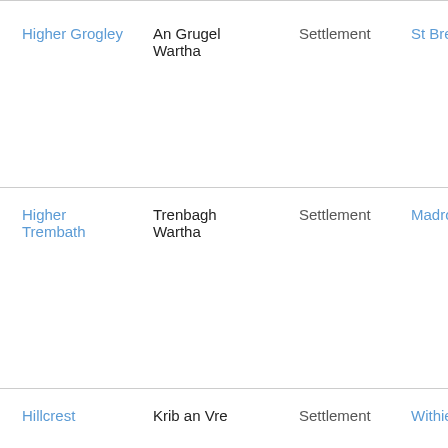| English Name | Cornish Name | Type | Parish |
| --- | --- | --- | --- |
| Higher Grogley | An Grugel Wartha | Settlement | St Breock |
| Higher Trembath | Trenbagh Wartha | Settlement | Madron |
| Hillcrest | Krib an Vre | Settlement | Withiel |
| Holy Vale | Holy Vale | Settlement | Scill... |